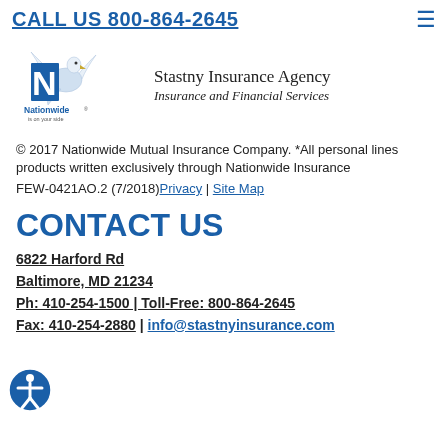CALL US 800-864-2645
[Figure (logo): Nationwide Insurance logo with eagle and 'Nationwide is on your side' tagline, alongside Stastny Insurance Agency - Insurance and Financial Services text]
© 2017 Nationwide Mutual Insurance Company. *All personal lines products written exclusively through Nationwide Insurance
FEW-0421AO.2 (7/2018) Privacy | Site Map
CONTACT US
6822 Harford Rd
Baltimore, MD 21234
Ph: 410-254-1500 | Toll-Free: 800-864-2645
Fax: 410-254-2880 | info@stastnyinsurance.com